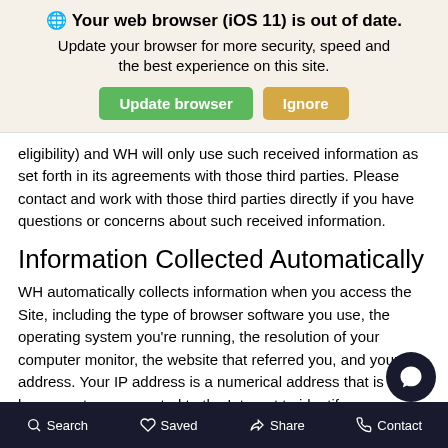[Figure (screenshot): Browser update banner with globe icon, bold title 'Your web browser (iOS 11) is out of date.', subtitle text, and two buttons: 'Update browser' (green) and 'Ignore' (tan/yellow)]
eligibility) and WH will only use such received information as set forth in its agreements with those third parties. Please contact and work with those third parties directly if you have questions or concerns about such received information.
Information Collected Automatically
WH automatically collects information when you access the Site, including the type of browser software you use, the operating system you're running, the resolution of your computer monitor, the website that referred you, and your IP address. Your IP address is a numerical address that is used by computers connected to the Internet to identify your computer so that data (such as th pages you want to view) can be transmitted to you. WH al IP address information from
Search   Saved   Share   Contact